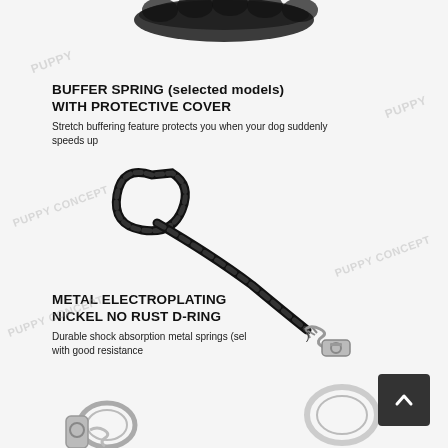[Figure (photo): Top portion showing a black braided dog leash handle partially visible at top of page]
BUFFER SPRING (selected models) WITH PROTECTIVE COVER
Stretch buffering feature protects you when your dog suddenly speeds up
[Figure (photo): Black braided dog leash with a metal spring buffer and chrome clip at the end, shown on white background]
METAL ELECTROPLATING NICKEL NO RUST D-RING
Durable shock absorption metal springs (selected models) with good resistance
[Figure (photo): Close-up of metal D-ring and hardware components of dog leash at bottom of page]